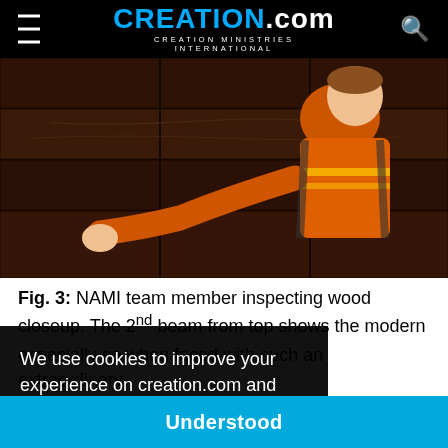CREATION.com - CREATION MINISTRIES INTERNATIONAL
[Figure (photo): Person wearing orange high-visibility jacket inspecting dark wooden beams up close in a dim environment]
Fig. 3: NAMI team member inspecting wood closeup. The 2nd beam from top shows the modern ... what ... aution ... is especially so when faced with such an extraordinary
We use cookies to improve your experience on creation.com and related sites.
Privacy Policy
Understood